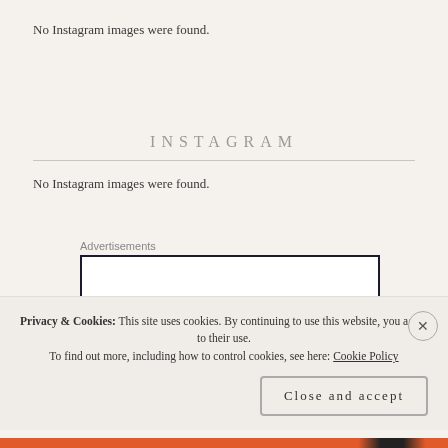No Instagram images were found.
INSTAGRAM
No Instagram images were found.
Advertisements
[Figure (other): Empty advertisement box with dark border]
Privacy & Cookies: This site uses cookies. By continuing to use this website, you agree to their use.
To find out more, including how to control cookies, see here: Cookie Policy
Close and accept